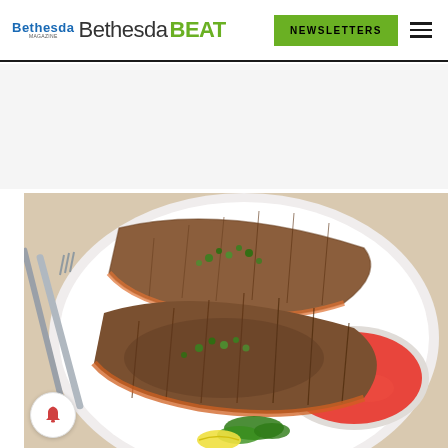Bethesda Magazine / Bethesda BEAT — NEWSLETTERS navigation bar
[Figure (photo): A white plate with two pan-seared fish fillets (crispy skin side up) garnished with chopped green herbs, served with a small bowl of red pepper sauce, a wedge of lemon, and fresh parsley. A fork and knife are visible on the left side.]